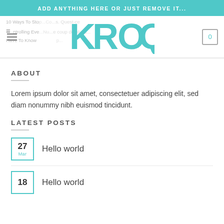ADD ANYTHING HERE OR JUST REMOVE IT...
[Figure (logo): KROQ teal logo with stylized K, R, O, Q letters]
ABOUT
Lorem ipsum dolor sit amet, consectetuer adipiscing elit, sed diam nonummy nibh euismod tincidunt.
LATEST POSTS
27 Mar — Hello world
18 — Hello world